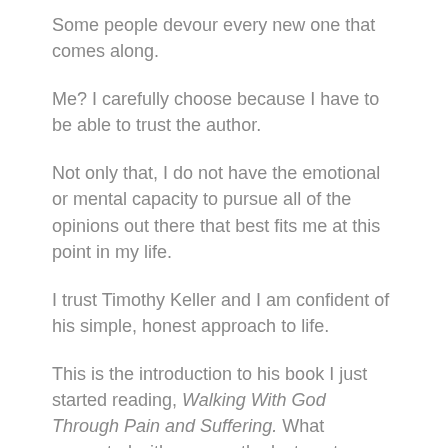Some people devour every new one that comes along.
Me? I carefully choose because I have to be able to trust the author.
Not only that, I do not have the emotional or mental capacity to pursue all of the opinions out there that best fits me at this point in my life.
I trust Timothy Keller and I am confident of his simple, honest approach to life.
This is the introduction to his book I just started reading, Walking With God Through Pain and Suffering. What resonated with me was the last sentence: … inevitably this support must be spiritual.